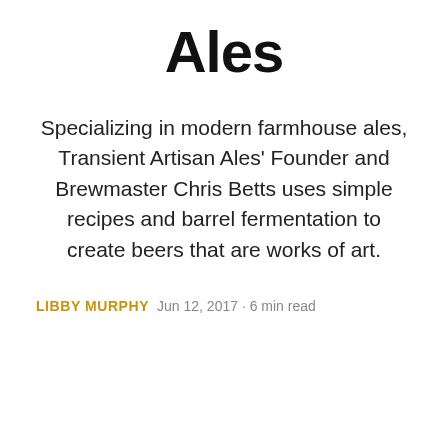Ales
Specializing in modern farmhouse ales, Transient Artisan Ales' Founder and Brewmaster Chris Betts uses simple recipes and barrel fermentation to create beers that are works of art.
LIBBY MURPHY   Jun 12, 2017 · 6 min read